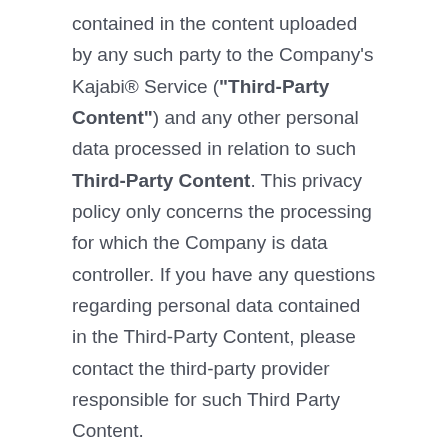contained in the content uploaded by any such party to the Company's Kajabi® Service ("Third-Party Content") and any other personal data processed in relation to such Third-Party Content. This privacy policy only concerns the processing for which the Company is data controller. If you have any questions regarding personal data contained in the Third-Party Content, please contact the third-party provider responsible for such Third Party Content.
Children Age 16 and Under: The Company recognizes the special obligation to protect personally identifiable information obtained from children.